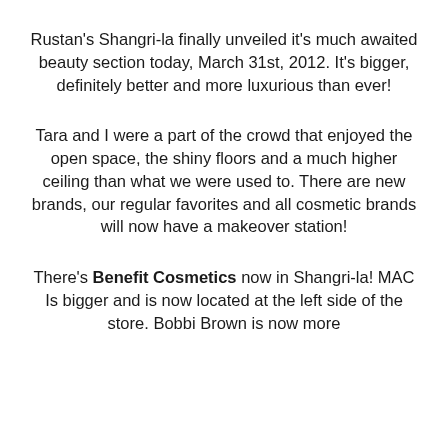Rustan's Shangri-la finally unveiled it's much awaited beauty section today, March 31st, 2012. It's bigger, definitely better and more luxurious than ever!
Tara and I were a part of the crowd that enjoyed the open space, the shiny floors and a much higher ceiling than what we were used to. There are new brands, our regular favorites and all cosmetic brands will now have a makeover station!
There's Benefit Cosmetics now in Shangri-la! MAC Is bigger and is now located at the left side of the store. Bobbi Brown is now more